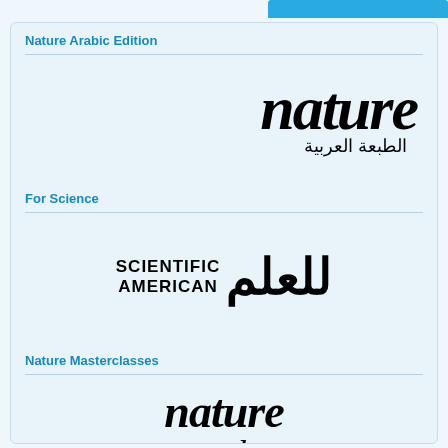Nature Arabic Edition
[Figure (logo): Nature Arabic Edition logo — 'nature' in large bold italic serif font with Arabic subtitle 'الطبعة العربية']
For Science
[Figure (logo): Scientific American Arabic edition logo — 'SCIENTIFIC AMERICAN' in bold caps next to Arabic script 'للعلم']
Nature Masterclasses
[Figure (logo): Nature Masterclasses logo — 'nature' in bold italic serif and 'masterclasses' in lighter italic serif below]